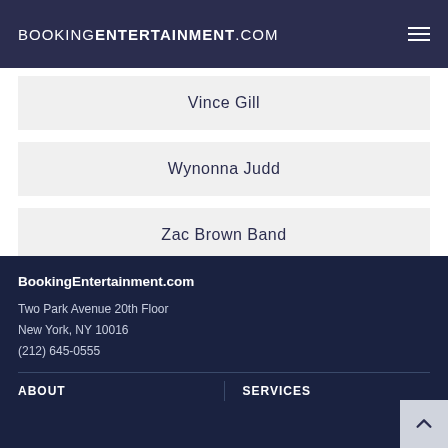BOOKINGENTERTAINMENT.COM
Vince Gill
Wynonna Judd
Zac Brown Band
BookingEntertainment.com
Two Park Avenue 20th Floor
New York, NY 10016
(212) 645-0555
ABOUT | SERVICES